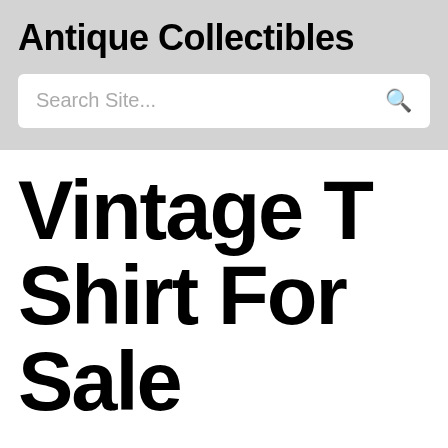Antique Collectibles
Search Site...
Vintage T Shirt For Sale